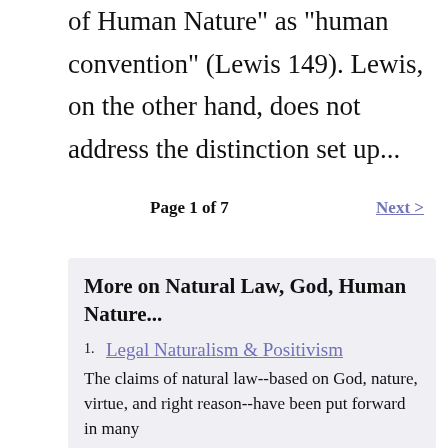Russell would simply dismiss Lewis's "Law of Human Nature" as "human convention" (Lewis 149). Lewis, on the other hand, does not address the distinction set up...
Page 1 of 7    Next >
More on Natural Law, God, Human Nature...
1. Legal Naturalism & Positivism
The claims of natural law--based on God, nature, virtue, and right reason--have been put forward in many